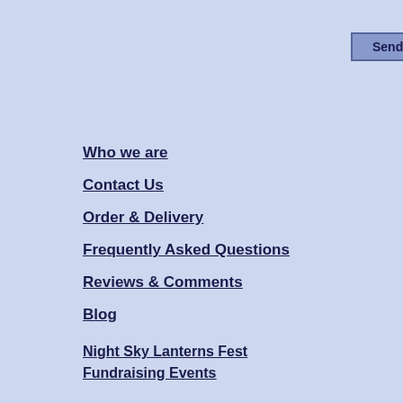[Figure (screenshot): Send button with blue-purple background and dark border]
Who we are
Contact Us
Order & Delivery
Frequently Asked Questions
Reviews & Comments
Blog
Night Sky Lanterns Fest
Fundraising Events
Careers Jobs Opportunities
Workshop Apprenticeships
Photo & Video Gallery